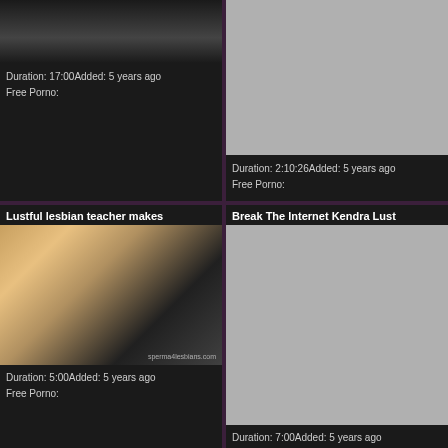[Figure (screenshot): Top-left video card showing dark/cropped image thumbnail, partially visible]
Duration: 17:00Added: 5 years ago
Free Porno:
[Figure (screenshot): Top-right video card with gray placeholder thumbnail]
Duration: 2:10:26Added: 5 years ago
Free Porno:
Lustful lesbian teacher makes
[Figure (screenshot): Middle-left video thumbnail showing three women on couch, site watermark sperma4lesbians.com]
Duration: 5:00Added: 5 years ago
Free Porno:
Break The Internet Kendra Lust
[Figure (screenshot): Middle-right large gray placeholder thumbnail]
Duration: 7:00Added: 5 years ago
Free Porno: amateur big
Brunette teacher Kendra Lust
Lustful group sex experience for